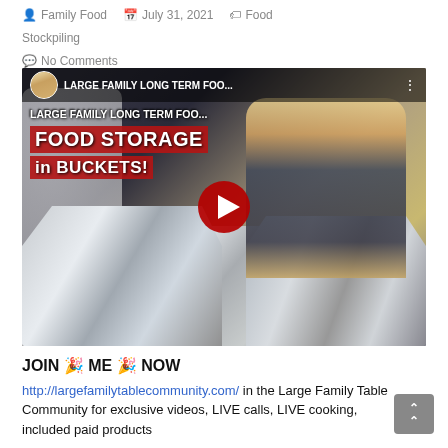Family Food  July 31, 2021  Food Stockpiling  No Comments
[Figure (screenshot): YouTube video thumbnail showing a woman with blonde hair working with mylar bags in buckets. Video title overlay reads 'LARGE FAMILY LONG TERM FOO... FOOD STORAGE in BUCKETS!' with a red play button in the center. Small avatar of the creator in top-left corner.]
JOIN 🎉 ME 🎉 NOW
http://largefamilytablecommunity.com/ in the Large Family Table Community for exclusive videos, LIVE calls, LIVE cooking, included paid products